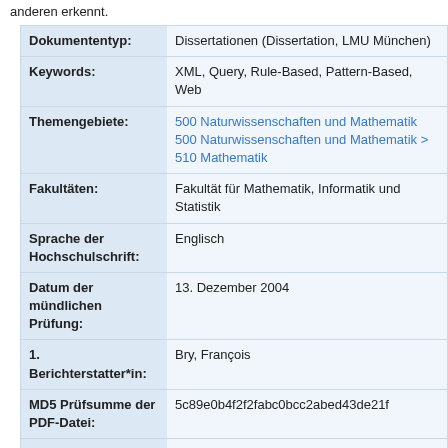anderen erkennt.
| Dokumententyp: | Dissertationen (Dissertation, LMU München) |
| Keywords: | XML, Query, Rule-Based, Pattern-Based, Web |
| Themengebiete: | 500 Naturwissenschaften und Mathematik
500 Naturwissenschaften und Mathematik > 510 Mathematik |
| Fakultäten: | Fakultät für Mathematik, Informatik und Statistik |
| Sprache der Hochschulschrift: | Englisch |
| Datum der mündlichen Prüfung: | 13. Dezember 2004 |
| 1. Berichterstatter*in: | Bry, François |
| MD5 Prüfsumme der PDF-Datei: | 5c89e0b4f2f2fabc0bcc2abed43de21f |
| Signatur der gedruckten Ausgabe: | 0001/UMC 14193 |
| ID Code: | 2914 |
| Eingestellt am: | 22. Dec. 2004 |